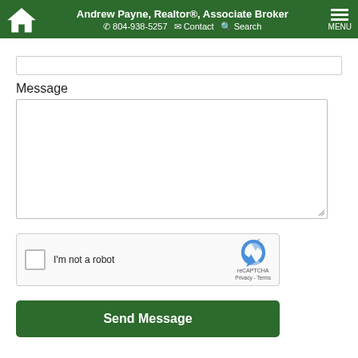Andrew Payne, Realtor®, Associate Broker | 804-938-5257 | Contact | Search | MENU
Message
[Figure (screenshot): reCAPTCHA widget with checkbox labeled I'm not a robot and reCAPTCHA logo with Privacy - Terms text]
Send Message